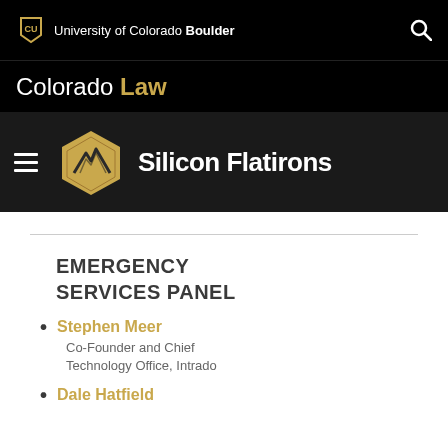University of Colorado Boulder
Colorado Law
[Figure (logo): Silicon Flatirons logo — gold hexagon with mountain graphic and white bold text 'Silicon Flatirons']
EMERGENCY SERVICES PANEL
Stephen Meer
Co-Founder and Chief
Technology Office, Intrado
Dale Hatfield